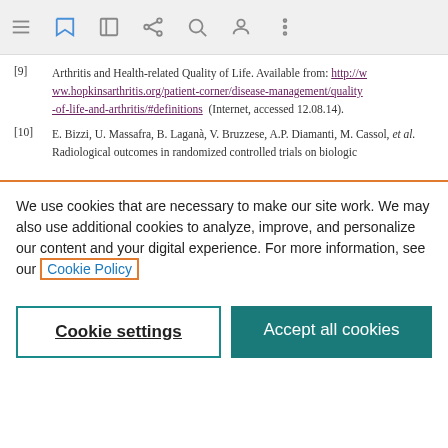[Figure (screenshot): Browser toolbar with menu, bookmark, edit, share, search, profile, and more icons on a grey background]
[9] Arthritis and Health-related Quality of Life. Available from: http://www.hopkinsarthritis.org/patient-corner/disease-management/quality-of-life-and-arthritis/#definitions (Internet, accessed 12.08.14).
[10] E. Bizzi, U. Massafra, B. Laganà, V. Bruzzese, A.P. Diamanti, M. Cassol, et al. Radiological outcomes in randomized controlled trials on biologic
We use cookies that are necessary to make our site work. We may also use additional cookies to analyze, improve, and personalize our content and your digital experience. For more information, see our Cookie Policy
Cookie settings
Accept all cookies